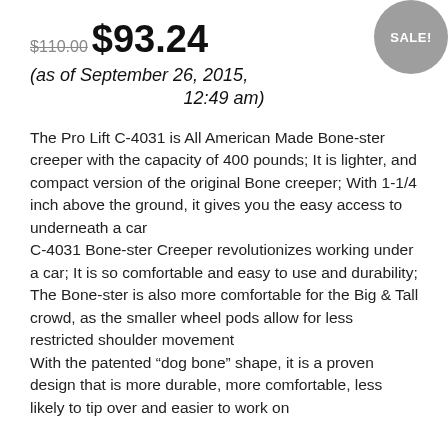$110.00  $93.24  (as of September 26, 2015, 12:49 am)
The Pro Lift C-4031 is All American Made Bone-ster creeper with the capacity of 400 pounds; It is lighter, and compact version of the original Bone creeper; With 1-1/4 inch above the ground, it gives you the easy access to underneath a car
C-4031 Bone-ster Creeper revolutionizes working under a car; It is so comfortable and easy to use and durability; The Bone-ster is also more comfortable for the Big & Tall crowd, as the smaller wheel pods allow for less restricted shoulder movement
With the patented “dog bone” shape, it is a proven design that is more durable, more comfortable, less likely to tip over and easier to work on